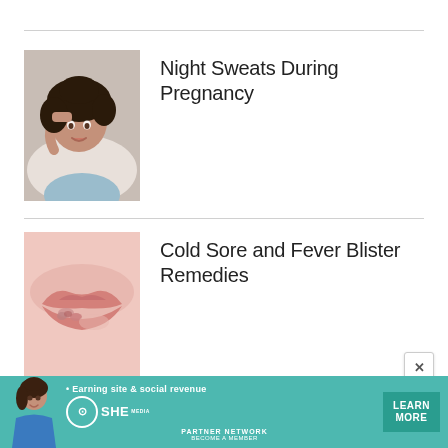[Figure (photo): Woman lying in bed with curly hair, hand on forehead, appearing unwell or hot, wearing light blue top]
Night Sweats During Pregnancy
[Figure (photo): Close-up of lips with a cold sore or fever blister, on pink/pale skin background]
Cold Sore and Fever Blister Remedies
[Figure (infographic): SHE Media Partner Network advertisement banner with woman, logo, and Learn More button. Text: Earning site & social revenue. SHE PARTNER NETWORK. BECOME A MEMBER. LEARN MORE.]